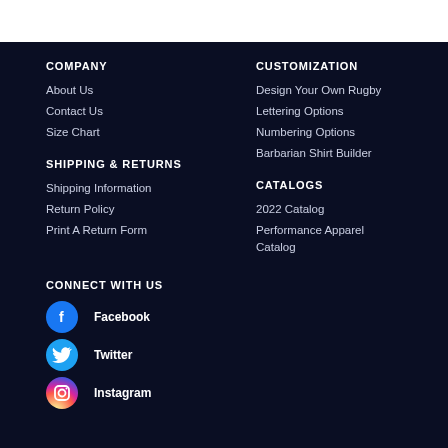COMPANY
About Us
Contact Us
Size Chart
CUSTOMIZATION
Design Your Own Rugby
Lettering Options
Numbering Options
Barbarian Shirt Builder
SHIPPING & RETURNS
Shipping Information
Return Policy
Print A Return Form
CATALOGS
2022 Catalog
Performance Apparel Catalog
CONNECT WITH US
Facebook
Twitter
Instagram